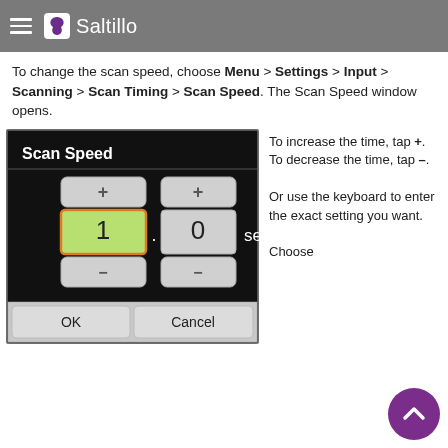Saltillo
To change the scan speed, choose Menu > Settings > Input > Scanning > Scan Timing > Scan Speed. The Scan Speed window opens.
[Figure (screenshot): Scan Speed dialog window showing two spinners set to '1' and '0' with '.sec' label, plus OK and Cancel buttons. The '1' spinner is highlighted with an orange border and green background.]
To increase the time, tap +.
To decrease the time, tap –.

Or use the keyboard to enter the exact setting you want.

Choose